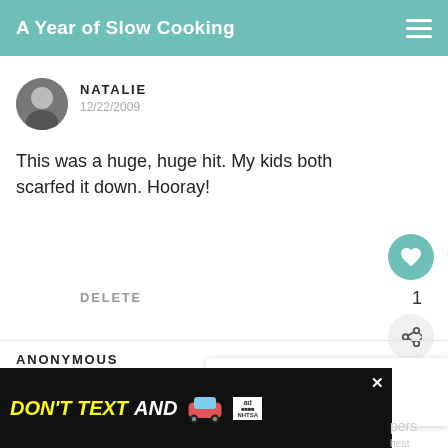A Year of Slow Cooking
NATALIE
12/22/2009
This was a huge, huge hit. My kids both scarfed it down. Hooray!
DELETE
1
WHAT'S NEXT → Slow Cooker Caribbean...
ANONYMOUS
12/23/2009
[Figure (screenshot): Advertisement banner: DON'T TEXT AND [car emoji] with ad label and NHTSA logo, close button]